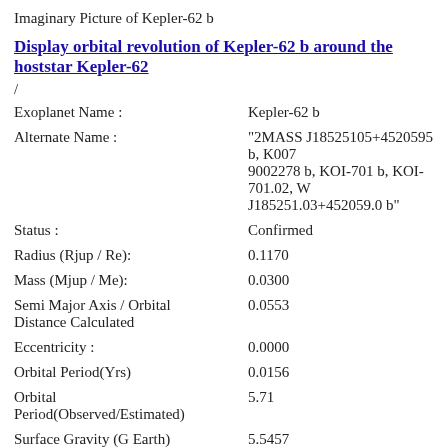Imaginary Picture of Kepler-62 b
Display orbital revolution of Kepler-62 b around the hoststar Kepler-62
/
| Exoplanet Name : | Kepler-62 b |
| Alternate Name : | "2MASS J18525105+4520595 b, K007 9002278 b, KOI-701 b, KOI-701.02, W J185251.03+452059.0 b" |
| Status : | Confirmed |
| Radius (Rjup / Re): | 0.1170 |
| Mass (Mjup / Me): | 0.0300 |
| Semi Major Axis / Orbital Distance Calculated | 0.0553 |
| Eccentricity : | 0.0000 |
| Orbital Period(Yrs) | 0.0156 |
| Orbital Period(Observed/Estimated) | 5.71 |
| Surface Gravity (G Earth) | 5.5457 |
| Star Radiation at Atmospheric Boundary: | 113000.8 |
| Measured Temperature (K) | 0.0 |